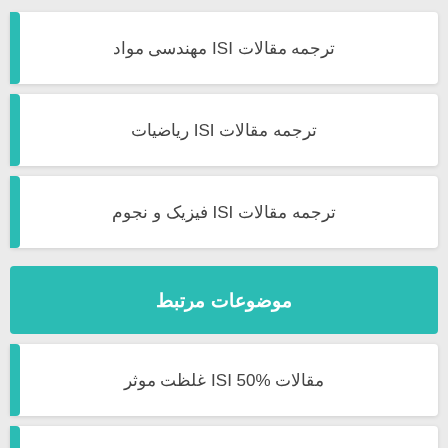ترجمه مقالات ISI مهندسی مواد
ترجمه مقالات ISI ریاضیات
ترجمه مقالات ISI فیزیک و نجوم
موضوعات مرتبط
مقالات ISI 50% غلظت موثر
مقالات ISI ALL